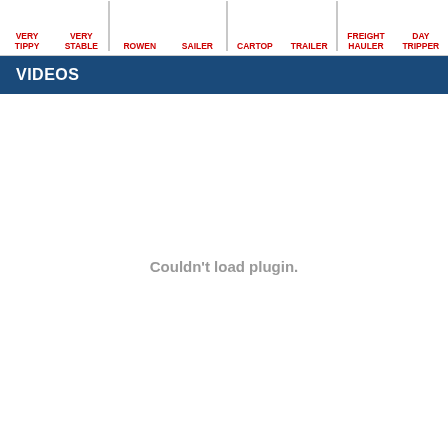VERY TIPPY | VERY STABLE | ROWEN | SAILER | CARTOP | TRAILER | FREIGHT HAULER | DAY TRIPPER
VIDEOS
Couldn't load plugin.